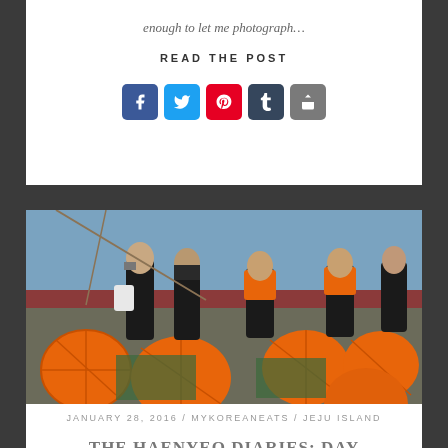enough to let me photograph…
READ THE POST
[Figure (other): Social media share icons: Facebook (blue), Twitter (blue), Pinterest (red), Tumblr (dark), Share (grey)]
[Figure (photo): Haenyeo (Korean women divers) in black and orange wetsuits sitting on a boat surrounded by large orange buoy floats and green fishing nets]
JANUARY 28, 2016 / MYKOREANEATS / JEJU ISLAND
THE HAENYEO DIARIES: DAY